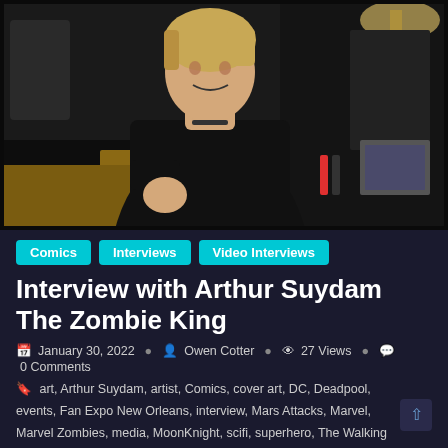[Figure (photo): Arthur Suydam, a man with blonde hair wearing a black t-shirt, sitting at a table at what appears to be a convention, smiling and gesturing toward the camera. He has markers and materials on the table in front of him.]
Comics   Interviews   Video Interviews
Interview with Arthur Suydam The Zombie King
January 30, 2022   Owen Cotter   27 Views   0 Comments
art, Arthur Suydam, artist, Comics, cover art, DC, Deadpool, events, Fan Expo New Orleans, interview, Mars Attacks, Marvel, Marvel Zombies, media, MoonKnight, scifi, superhero, The Walking